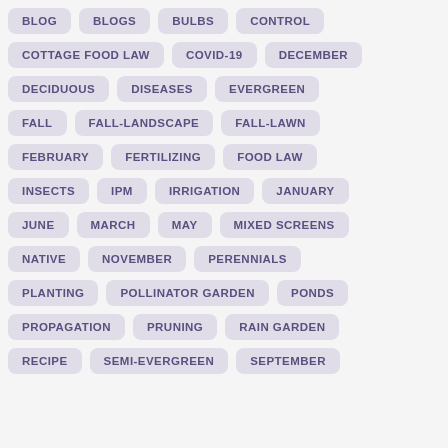BLOG
BLOGS
BULBS
CONTROL
COTTAGE FOOD LAW
COVID-19
DECEMBER
DECIDUOUS
DISEASES
EVERGREEN
FALL
FALL-LANDSCAPE
FALL-LAWN
FEBRUARY
FERTILIZING
FOOD LAW
INSECTS
IPM
IRRIGATION
JANUARY
JUNE
MARCH
MAY
MIXED SCREENS
NATIVE
NOVEMBER
PERENNIALS
PLANTING
POLLINATOR GARDEN
PONDS
PROPAGATION
PRUNING
RAIN GARDEN
RECIPE
SEMI-EVERGREEN
SEPTEMBER